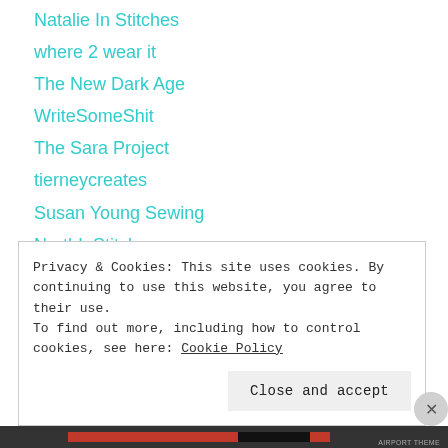Natalie In Stitches
where 2 wear it
The New Dark Age
WriteSomeShit
The Sara Project
tierneycreates
Susan Young Sewing
NorthInStitches
Mainelymenswear
Elle Gee Makes
Recovering Shopaholic
studio zandra
Privacy & Cookies: This site uses cookies. By continuing to use this website, you agree to their use. To find out more, including how to control cookies, see here: Cookie Policy
Close and accept